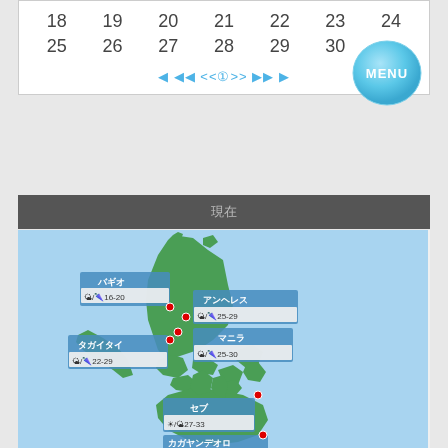| 18 | 19 | 20 | 21 | 22 | 23 | 24 |
| 25 | 26 | 27 | 28 | 29 | 30 |  |
◀ ◀◀ <<①>> ▶▶ ▶
[Figure (other): MENU button - blue circular button]
現在
[Figure (map): Map of the Philippines with weather labels: バギオ 🌤/🌂 16-20, アンヘレス 🌤/🌂 25-29, マニラ 🌤/🌂 25-30, タガイタイ 🌤/🌂 22-29, セブ ☀/🌤 27-33, カガヤンデオロ (partially visible)]